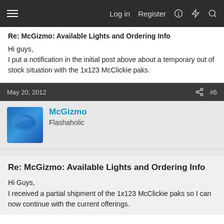Log in  Register  [icons]
Re: McGizmo: Available Lights and Ordering Info
Hi guys,
I put a notification in the initial post above about a temporary out of stock situation with the 1x123 McClickie paks.
May 20, 2012  #6
McGizmo
Flashaholic
Re: McGizmo: Available Lights and Ordering Info
Hi Guys,
I received a partial shipment of the 1x123 McClickie paks so I can now continue with the current offerings.